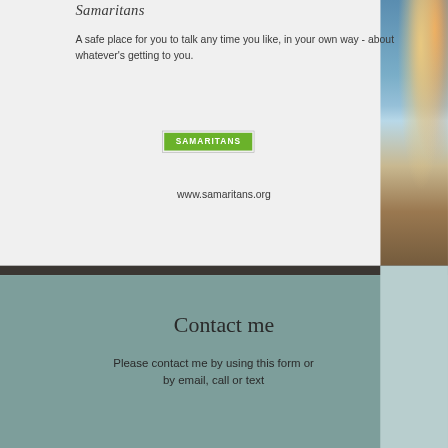Samaritans
A safe place for you to talk any time you like, in your own way - about whatever's getting to you.
[Figure (logo): Samaritans logo - green rectangle button with white text 'SAMARITANS' in uppercase letters]
www.samaritans.org
[Figure (photo): Beach/coastal sunset scene with colorful sky and ocean waves on sandy shore]
Contact me
Please contact me by using this form or by email, call or text
Email:
Phone, Email, List, Location icons navigation bar